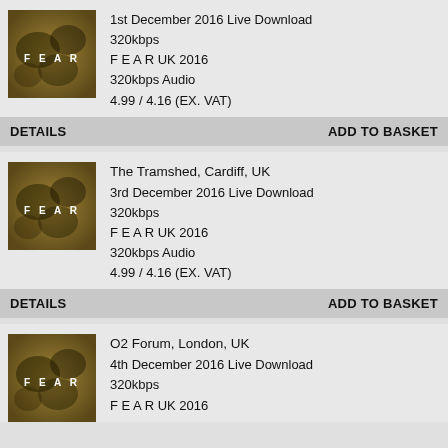[Figure (illustration): FEAR album art - gold/brown textured cover with 'F E A R' text in white]
1st December 2016 Live Download
320kbps
F E A R UK 2016
320kbps Audio
4.99 / 4.16 (EX. VAT)
DETAILS    ADD TO BASKET
[Figure (illustration): FEAR album art - gold/brown textured cover with 'F E A R' text in white]
The Tramshed, Cardiff, UK
3rd December 2016 Live Download
320kbps
F E A R UK 2016
320kbps Audio
4.99 / 4.16 (EX. VAT)
DETAILS    ADD TO BASKET
[Figure (illustration): FEAR album art - gold/brown textured cover with 'F E A R' text in white]
O2 Forum, London, UK
4th December 2016 Live Download
320kbps
F E A R UK 2016